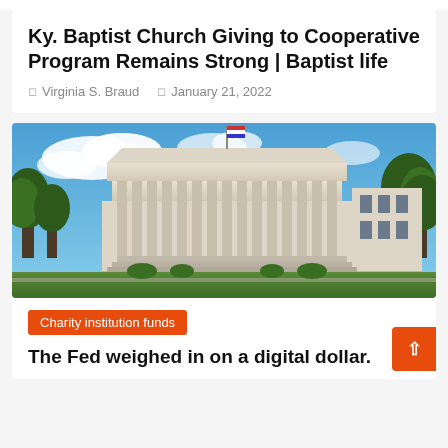Ky. Baptist Church Giving to Cooperative Program Remains Strong | Baptist life
Virginia S. Braud   January 21, 2022
[Figure (photo): Photograph of the Federal Reserve building, a large neoclassical white stone government building with columns, an American flag on top, blue sky with clouds, and trees on both sides with green lawn in front.]
Charity institution funds
The Fed weighed in on a digital dollar.